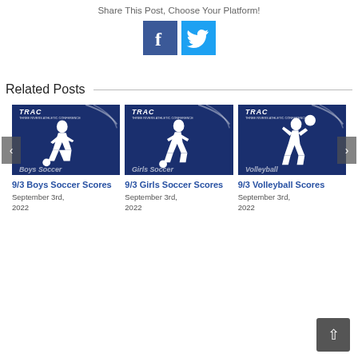Share This Post, Choose Your Platform!
[Figure (infographic): Facebook and Twitter social sharing icons]
Related Posts
[Figure (photo): 9/3 Boys Soccer Scores - TRAC Three Rivers Athletic Conference dark blue image with boys soccer player silhouette]
9/3 Boys Soccer Scores
September 3rd, 2022
[Figure (photo): 9/3 Girls Soccer Scores - TRAC Three Rivers Athletic Conference dark blue image with girls soccer player silhouette]
9/3 Girls Soccer Scores
September 3rd, 2022
[Figure (photo): 9/3 Volleyball Scores - TRAC Three Rivers Athletic Conference dark blue image with volleyball player silhouette]
9/3 Volleyball Scores
September 3rd, 2022